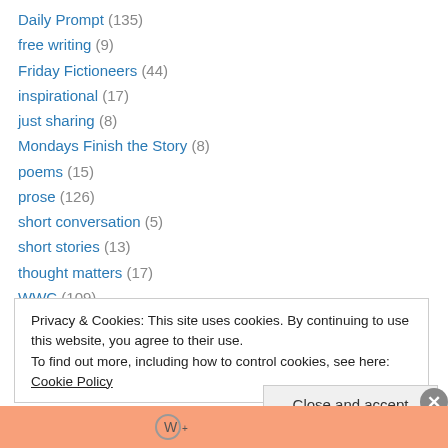Daily Prompt (135)
free writing (9)
Friday Fictioneers (44)
inspirational (17)
just sharing (8)
Mondays Finish the Story (8)
poems (15)
prose (126)
short conversation (5)
short stories (13)
thought matters (17)
WWC (109)
Privacy & Cookies: This site uses cookies. By continuing to use this website, you agree to their use. To find out more, including how to control cookies, see here: Cookie Policy
Close and accept